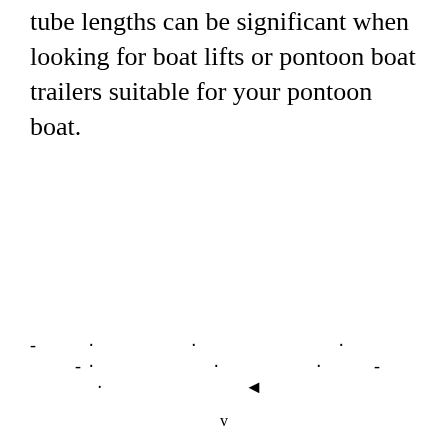tube lengths can be significant when looking for boat lifts or pontoon boat trailers suitable for your pontoon boat.
· · · · · · · · · · · · · ·
v